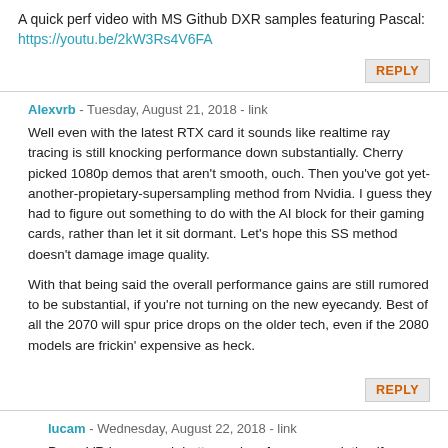A quick perf video with MS Github DXR samples featuring Pascal: https://youtu.be/2kW3Rs4V6FA
REPLY
Alexvrb - Tuesday, August 21, 2018 - link
Well even with the latest RTX card it sounds like realtime ray tracing is still knocking performance down substantially. Cherry picked 1080p demos that aren't smooth, ouch. Then you've got yet-another-propietary-supersampling method from Nvidia. I guess they had to figure out something to do with the AI block for their gaming cards, rather than let it sit dormant. Let's hope this SS method doesn't damage image quality.

With that being said the overall performance gains are still rumored to be substantial, if you're not turning on the new eyecandy. Best of all the 2070 will spur price drops on the older tech, even if the 2080 models are frickin' expensive as heck.
REPLY
lucam - Wednesday, August 22, 2018 - link
PowerVR has a much better and performance solution if you bring everything to right scale. No mobile solution can't even be any closer to what Imagination has developed by far. And yet we are still debating about NV solution that in RT is really